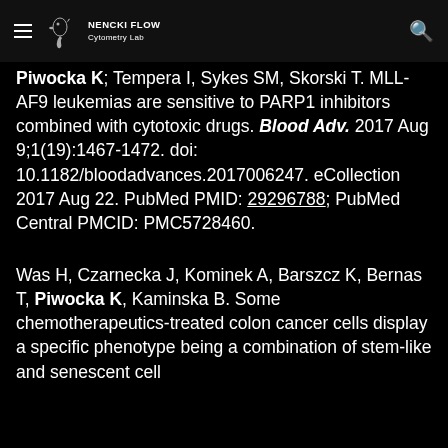NENCKI FLOW Cytometry Lab
Piwocka K; Tempera I, Sykes SM, Skorski T. MLL-AF9 leukemias are sensitive to PARP1 inhibitors combined with cytotoxic drugs. Blood Adv. 2017 Aug 9;1(19):1467-1472. doi: 10.1182/bloodadvances.2017006247. eCollection 2017 Aug 22. PubMed PMID: 29296788; PubMed Central PMCID: PMC5728460.
Was H, Czarnecka J, Kominek A, Barszcz K, Bernas T, Piwocka K, Kaminska B. Some chemotherapeutics-treated colon cancer cells display a specific phenotype being a combination of stem-like and senescent cell